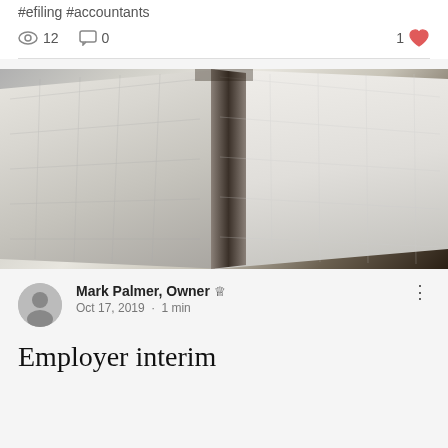#efiling #accountants
12 views  0 comments  1 like
[Figure (photo): An open planner/calendar book lying flat on a wooden desk, photographed from a low angle. The pages show a monthly calendar grid with handwritten notes. The book has a black cover/binding visible at the top.]
Mark Palmer, Owner 🔥 Oct 17, 2019 · 1 min
Employer interim